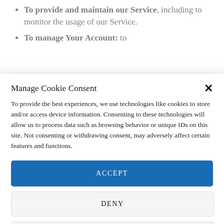To provide and maintain our Service, including to monitor the usage of our Service.
To manage Your Account: to
Manage Cookie Consent
To provide the best experiences, we use technologies like cookies to store and/or access device information. Consenting to these technologies will allow us to process data such as browsing behavior or unique IDs on this site. Not consenting or withdrawing consent, may adversely affect certain features and functions.
ACCEPT
DENY
VIEW PREFERENCES
Cookie Policy   Privacy Policy